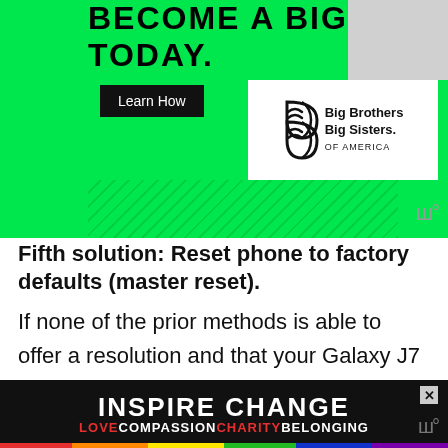[Figure (illustration): Green advertisement banner for Big Brothers Big Sisters of America with text 'BECOME A BIG TODAY.', a 'Learn How' button, and the organization's logo on white background.]
Fifth solution: Reset phone to factory defaults (master reset).
If none of the prior methods is able to offer a resolution and that your Galaxy J7 Pro (2018) smartphone is still unable to detect the SIM card and the No SIM card error still shows, then you may have to consider performing a master reset or full
[Figure (illustration): Dark advertisement banner with colorful text 'INSPIRE CHANGE' and rainbow-colored text 'LOVE COMPASSION CHARITY BELONGING' on black background with rainbow stripe at bottom.]